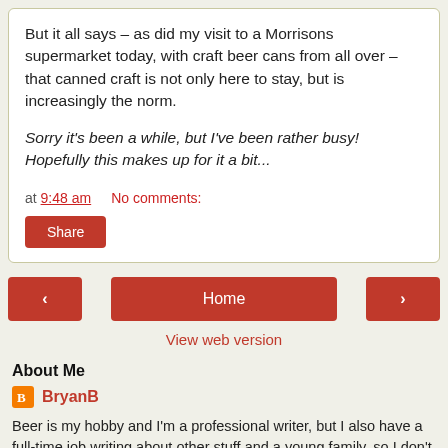But it all says – as did my visit to a Morrisons supermarket today, with craft beer cans from all over – that canned craft is not only here to stay, but is increasingly the norm.
Sorry it's been a while, but I've been rather busy! Hopefully this makes up for it a bit...
at 9:48 am   No comments:
Share
Home
View web version
About Me
BryanB
Beer is my hobby and I'm a professional writer, but I also have a full-time job writing about other stuff and a young family, so I don't have nearly as much time for beer-blogging as I'd like.